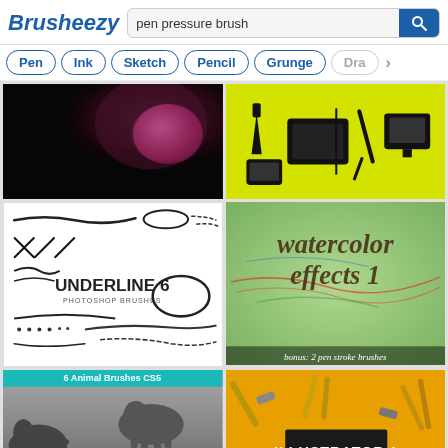Brusheezy
pen pressure brush
Pen
Ink
Sketch
Pencil
Grunge
Dra...
[Figure (photo): Dark photo with pink/magenta tones]
[Figure (illustration): Yellow background with black pen tablet icons]
[Figure (illustration): White background showing underline brush strokes with text UNDERLINE 6 PHOTOSHOP BRUSHES]
[Figure (illustration): Watercolor effects 1 text on colorful scratchy background with bonus 2 pen stroke brushes]
[Figure (photo): 6 Animal Brushes CS5 - grayscale animals including elephant, zebra, wolf, tiger, rhino - Animal 2 Graphic...]
[Figure (illustration): Orange background with pen/brush tools and black box saying ILLUSTRATOR 1 15 PHOTOSHOP BRUSHES]